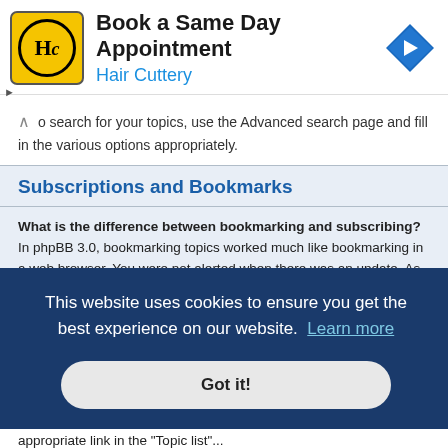[Figure (logo): Hair Cuttery ad banner with HC logo, 'Book a Same Day Appointment' title, and navigation arrow icon]
o search for your topics, use the Advanced search page and fill in the various options appropriately.
Top
Subscriptions and Bookmarks
What is the difference between bookmarking and subscribing?
In phpBB 3.0, bookmarking topics worked much like bookmarking in a web browser. You were not alerted when there was an update. As of phpBB 3.1, bookmarking is more like subscribing to a topic. You can be notified when a [text continues behind cookie banner] en there is [remainder hidden] kmarks Board
This website uses cookies to ensure you get the best experience on our website.  Learn more
Got it!
You can bookmark or subscribe to a specific topic by clicking the appropriate link in the "Topic list" ...